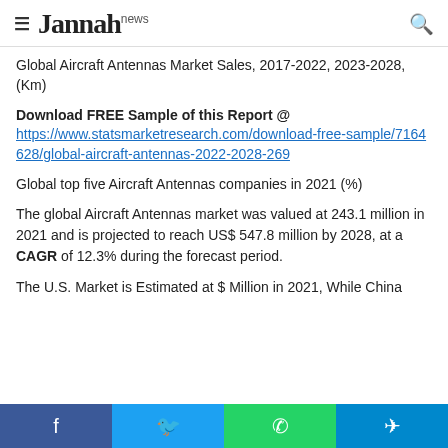Jannah news
Global Aircraft Antennas Market Sales, 2017-2022, 2023-2028, (Km)
Download FREE Sample of this Report @ https://www.statsmarketresearch.com/download-free-sample/7164628/global-aircraft-antennas-2022-2028-269
Global top five Aircraft Antennas companies in 2021 (%)
The global Aircraft Antennas market was valued at 243.1 million in 2021 and is projected to reach US$ 547.8 million by 2028, at a CAGR of 12.3% during the forecast period.
The U.S. Market is Estimated at $ Million in 2021, While China